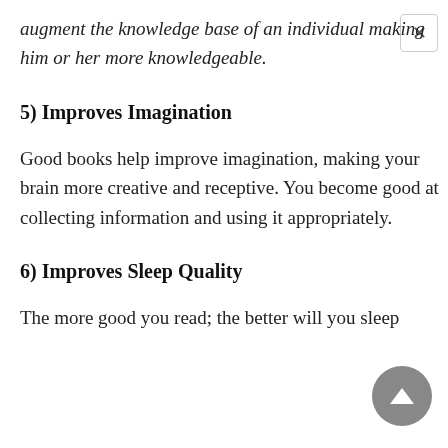augment the knowledge base of an individual making him or her more knowledgeable.
5) Improves Imagination
Good books help improve imagination, making your brain more creative and receptive. You become good at collecting information and using it appropriately.
6) Improves Sleep Quality
The more good you read; the better will you sleep